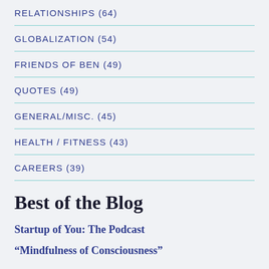RELATIONSHIPS (64)
GLOBALIZATION (54)
FRIENDS OF BEN (49)
QUOTES (49)
GENERAL/MISC. (45)
HEALTH / FITNESS (43)
CAREERS (39)
Best of the Blog
Startup of You: The Podcast
“Mindfulness of Consciousness”